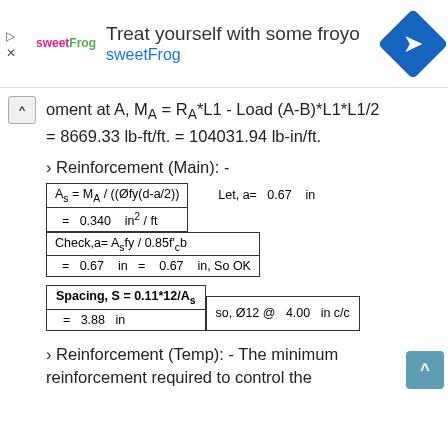[Figure (other): Advertisement banner for sweetFrog frozen yogurt with logo, text 'Treat yourself with some froyo sweetFrog', navigation icon, and close/play controls]
› Reinforcement (Main): -
| As = MA / ((Øfy(d-a/2)) |  | Let, a= | 0.67 | in |
| = 0.340  in² / ft |  |  |  |  |
| Check,a= Asfy / 0.85f'cb |  |  |  |  |
| = 0.67  in  =  0.67  in, So OK |  |  |  |  |
| Spacing, S = 0.11*12/As |  |
| = 3.88  in | so, Ø12 @  4.00  in c/c |
› Reinforcement (Temp): - The minimum reinforcement required to control the